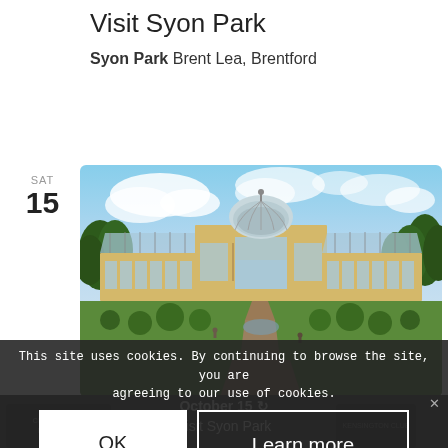Visit Syon Park
Syon Park Brent Lea, Brentford
SAT
15
[Figure (photo): Panoramic photograph of Syon Park's Great Conservatory greenhouse with glass dome, yellow stone facade, and manicured gardens in foreground]
October 15
Visit Syon Park
This site uses cookies. By continuing to browse the site, you are agreeing to our use of cookies.
OK
Learn more